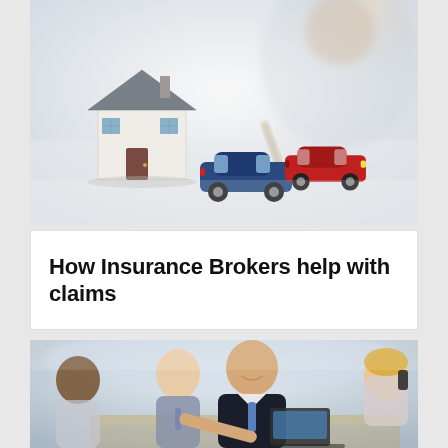[Figure (photo): A miniature house model and two toy cars (blue and red) on a white surface, with a blurred person in the background, representing home and auto insurance.]
How Insurance Brokers help with claims
[Figure (photo): Business professionals sitting around a table with a laptop. A man in a dark suit is smiling and shaking hands with someone. A woman on the right is talking on a phone. The scene depicts an insurance broker meeting with clients.]